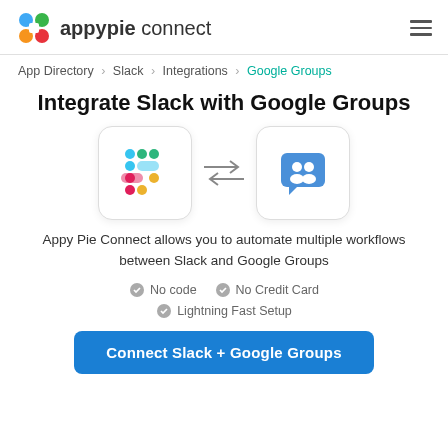appypie connect
App Directory > Slack > Integrations > Google Groups
Integrate Slack with Google Groups
[Figure (illustration): Slack logo icon in a rounded white box, double-headed arrows in the middle, Google Groups icon in a rounded white box]
Appy Pie Connect allows you to automate multiple workflows between Slack and Google Groups
No code
No Credit Card
Lightning Fast Setup
Connect Slack + Google Groups